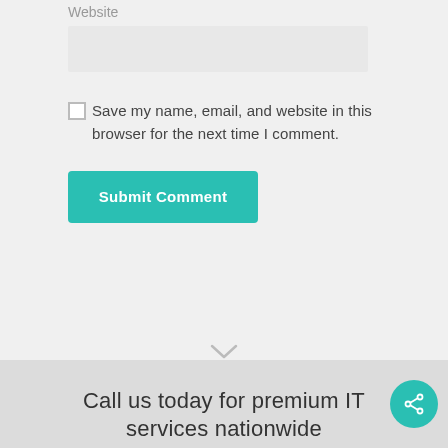Website
[Figure (screenshot): Website text input field, light gray background rectangular input box]
Save my name, email, and website in this browser for the next time I comment.
[Figure (screenshot): Submit Comment button, teal/green colored rounded rectangle button]
[Figure (screenshot): Downward chevron/arrow at top of dark gray footer section]
Call us today for premium IT services nationwide
[Figure (screenshot): Teal circular share button with share icon in lower right corner]